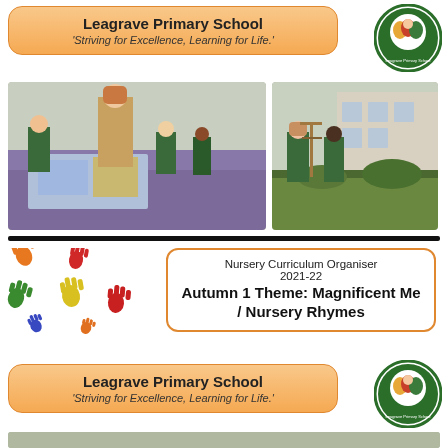Leagrave Primary School
'Striving for Excellence, Learning for Life.'
[Figure (photo): Teacher and young children working together at a table with artwork/maps in a classroom]
[Figure (photo): Two students in green school uniforms gardening outside school building]
[Figure (illustration): Colourful handprints in various colours (orange, red, yellow, green, blue)]
Nursery Curriculum Organiser 2021-22 Autumn 1 Theme: Magnificent Me / Nursery Rhymes
Leagrave Primary School
'Striving for Excellence, Learning for Life.'
[Figure (photo): Partial photo at bottom of page — same classroom scene repeated]